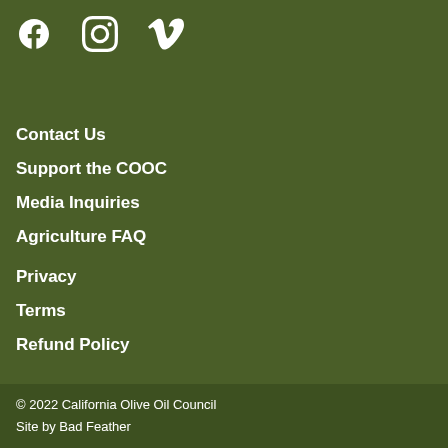[Figure (other): Social media icons: Facebook, Instagram, Vimeo in white on olive green background]
Contact Us
Support the COOC
Media Inquiries
Agriculture FAQ
Privacy
Terms
Refund Policy
© 2022 California Olive Oil Council
Site by Bad Feather